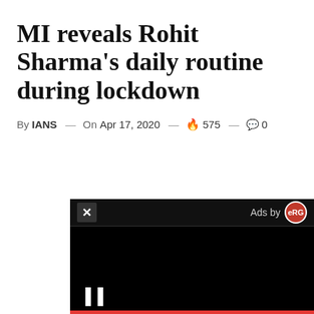MI reveals Rohit Sharma's daily routine during lockdown
By IANS — On Apr 17, 2020 — 🔥 575 — 💬 0
[Figure (screenshot): Video ad overlay in bottom-right corner. Black background with close button (X) and 'Ads by eRG' label in the top bar, a pause button (||) in the lower-left, and a red progress bar at the bottom.]